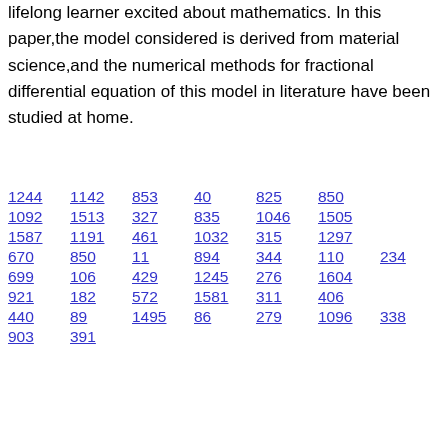lifelong learner excited about mathematics. In this paper,the model considered is derived from material science,and the numerical methods for fractional differential equation of this model in literature have been studied at home.
1244  1142  853  40  825  850
1092  1513  327  835  1046  1505
1587  1191  461  1032  315  1297
670  850  11  894  344  110  234
699  106  429  1245  276  1604
921  182  572  1581  311  406
440  89  1495  86  279  1096  338
903  391